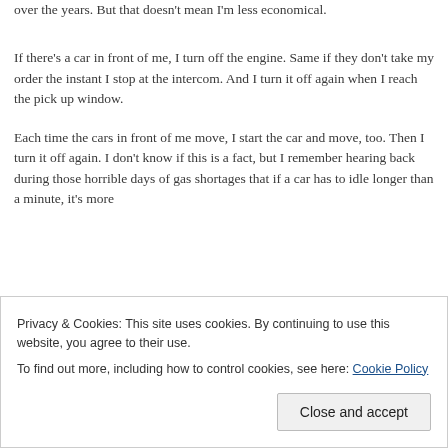over the years. But that doesn't mean I'm less economical.
If there's a car in front of me, I turn off the engine. Same if they don't take my order the instant I stop at the intercom. And I turn it off again when I reach the pick up window.
Each time the cars in front of me move, I start the car and move, too. Then I turn it off again. I don't know if this is a fact, but I remember hearing back during those horrible days of gas shortages that if a car has to idle longer than a minute, it's more
Privacy & Cookies: This site uses cookies. By continuing to use this website, you agree to their use.
To find out more, including how to control cookies, see here: Cookie Policy
Close and accept